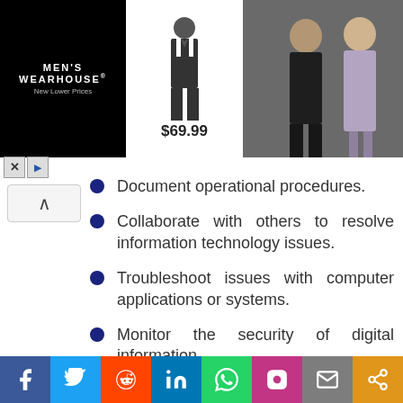[Figure (photo): Men's Wearhouse advertisement banner showing a suit for $69.99 with photos of a man in a suit and a couple dressed formally]
Document operational procedures.
Collaborate with others to resolve information technology issues.
Troubleshoot issues with computer applications or systems.
Monitor the security of digital information.
[Figure (screenshot): Show More button (dark blue rounded rectangle)]
[Figure (infographic): Social media sharing bar with Facebook, Twitter, Reddit, LinkedIn, WhatsApp, Instagram, Email, and Share buttons]